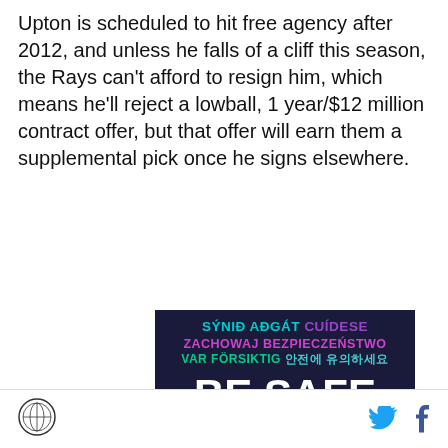Upton is scheduled to hit free agency after 2012, and unless he falls of a cliff this season, the Rays can't afford to resign him, which means he'll reject a lowball, 1 year/$12 million contract offer, but that offer will earn them a supplemental pick once he signs elsewhere.
[Figure (infographic): Dark navy background infographic with 'BE SAFE' in large white text, surrounded by the phrase 'be safe' in multiple languages and colors including Icelandic, Czech, Polish, Swedish, Korean, Vietnamese, Greek, and German.]
SB Nation logo | Twitter icon | Facebook icon